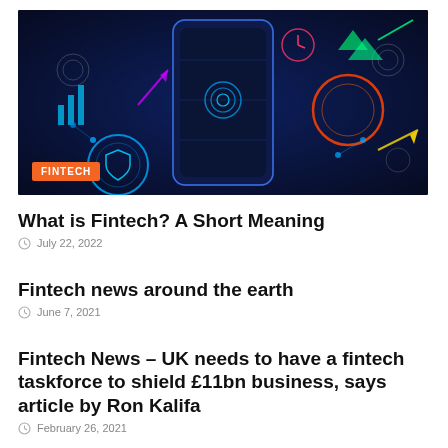[Figure (illustration): Fintech themed banner image showing a smartphone surrounded by glowing neon financial and technology icons on a dark blue background, with an orange FINTECH badge overlaid in the bottom left corner.]
What is Fintech? A Short Meaning
July 22, 2022
Fintech news around the earth
June 7, 2021
Fintech News  – UK needs to have a fintech taskforce to shield £11bn business, says article by Ron Kalifa
February 26, 2021